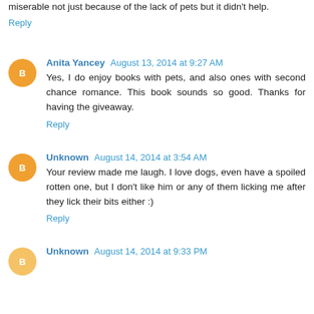miserable not just because of the lack of pets but it didn't help.
Reply
Anita Yancey August 13, 2014 at 9:27 AM
Yes, I do enjoy books with pets, and also ones with second chance romance. This book sounds so good. Thanks for having the giveaway.
Reply
Unknown August 14, 2014 at 3:54 AM
Your review made me laugh. I love dogs, even have a spoiled rotten one, but I don't like him or any of them licking me after they lick their bits either :)
Reply
Unknown August 14, 2014 at 9:33 PM